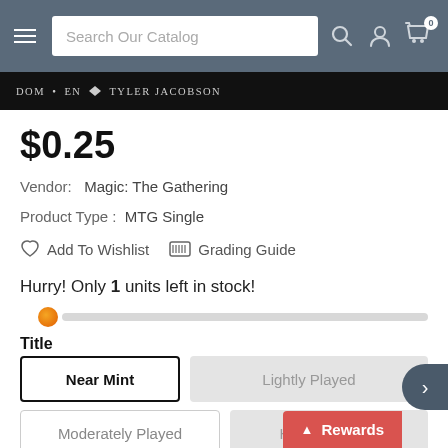Search Our Catalog
[Figure (screenshot): Card image strip showing 'DOM · EN · Tyler Jacobson' text on black background]
$0.25
Vendor:   Magic: The Gathering
Product Type :   MTG Single
Add To Wishlist   Grading Guide
Hurry! Only 1 units left in stock!
Title
Near Mint | Lightly Played | Moderately Played | Heavily Played